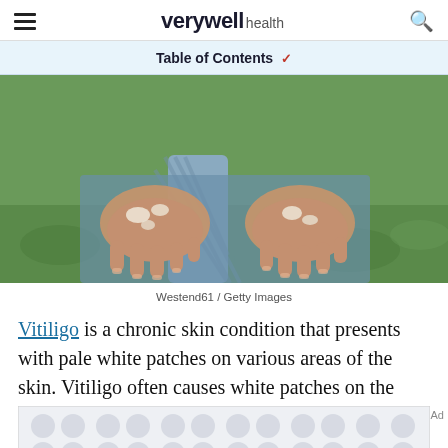verywell health
Table of Contents ∨
[Figure (photo): Person showing both hands with pale white vitiligo patches on palms and fingers, wearing blue denim shorts, outdoors on grass]
Westend61 / Getty Images
Vitiligo is a chronic skin condition that presents with pale white patches on various areas of the skin. Vitiligo often causes white patches on the
[Figure (other): Advertisement placeholder with dot/circle pattern]